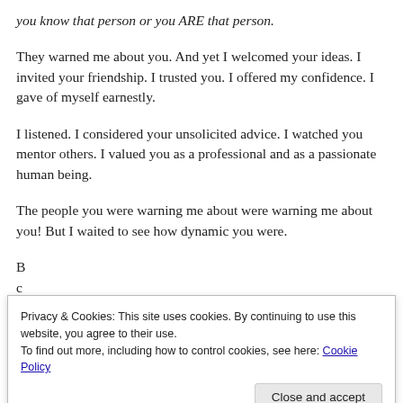you know that person or you ARE that person.
They warned me about you. And yet I welcomed your ideas. I invited your friendship. I trusted you. I offered my confidence. I gave of myself earnestly.
I listened. I considered your unsolicited advice. I watched you mentor others. I valued you as a professional and as a passionate human being.
The people you were warning me about were warning me about you! But I waited to see how dynamic you were.
Privacy & Cookies: This site uses cookies. By continuing to use this website, you agree to their use.
To find out more, including how to control cookies, see here: Cookie Policy
you let me down… because you were you.